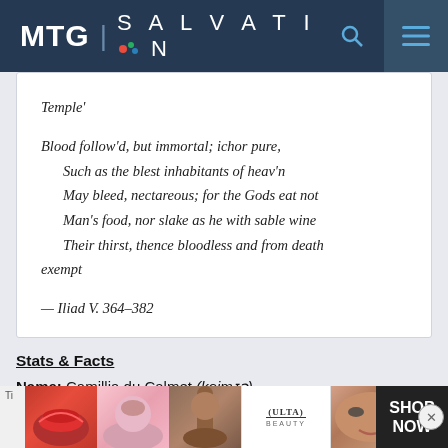MTG | SALVATION
Temple'
Blood follow'd, but immortal; ichor pure,
    Such as the blest inhabitants of heav'n
    May bleed, nectareous; for the Gods eat not
    Man's food, nor slake as he with sable wine
    Their thirst, thence bloodless and from death exempt

— Iliad V. 364–382
Stats & Facts
Name: Camillia du Calmet (keimɪə)
[Figure (photo): Advertisement banner with cosmetics/makeup imagery and ULTA logo, SHOP NOW call to action]